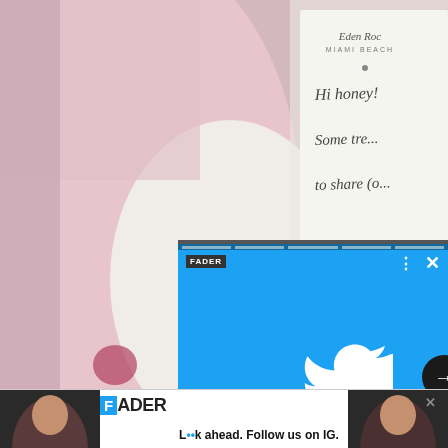[Figure (photo): Background photo showing pink and white fabric/paper, with a handwritten note on Eden Roc Miami Beach stationery visible in the upper right corner. The note reads partially: 'Hi honey! Some tre... to share (o...']
[Figure (screenshot): Overlay screenshot of a Twitter/Fader advertisement popup on a blue background showing the Twitter bird logo, with text 'Twitter announcesoption totweetprivately to select groups'. Contains FADER branding, three-dot menu icon, close X button, and a dark circle arrow button.]
[Figure (photo): Bottom advertisement bar for FADER showing two women with curly hair, FADER logo with blue F box, and the text 'L••k ahead. Follow us on IG.' with a close X button.]